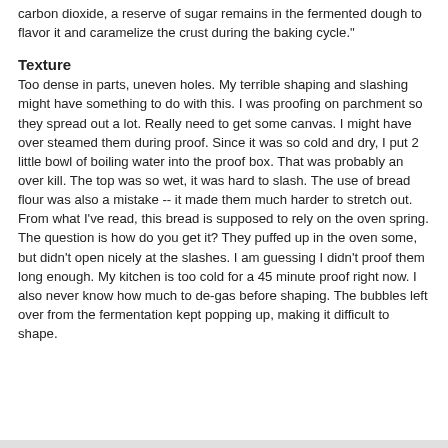carbon dioxide, a reserve of sugar remains in the fermented dough to flavor it and caramelize the crust during the baking cycle."
Texture
Too dense in parts, uneven holes.  My terrible shaping and slashing might have something to do with this.  I was proofing on parchment so they spread out a lot.  Really need to get some canvas.  I might have over steamed them during proof.  Since it was so cold and dry, I put 2 little bowl of boiling water into the proof box.  That was probably an over kill.  The top was so wet, it was hard to slash.  The use of bread flour was also a mistake -- it made them much harder to stretch out.  From what I've read, this bread is supposed to rely on the oven spring.  The question is how do you get it?  They puffed up in the oven some, but didn't open nicely at the slashes.  I am guessing I didn't proof them long enough.  My kitchen is too cold for a 45 minute proof right now.  I also never know how much to de-gas before shaping.  The bubbles left over from the fermentation kept popping up, making it difficult to shape.